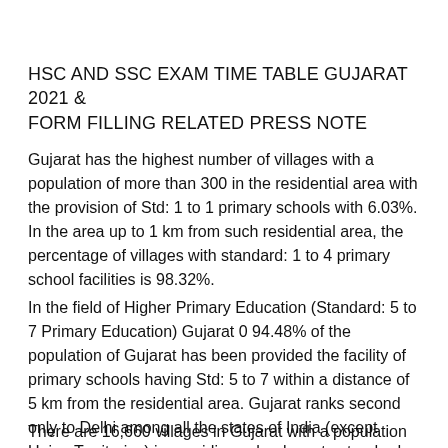HSC AND SSC EXAM TIME TABLE GUJARAT 2021 & FORM FILLING RELATED PRESS NOTE
Gujarat has the highest number of villages with a population of more than 300 in the residential area with the provision of Std: 1 to 1 primary schools with 6.03%. In the area up to 1 km from such residential area, the percentage of villages with standard: 1 to 4 primary school facilities is 98.32%.
In the field of Higher Primary Education (Standard: 5 to 7 Primary Education) Gujarat 0 94.48% of the population of Gujarat has been provided the facility of primary schools having Std: 5 to 7 within a distance of 5 km from the residential area. Gujarat ranks second only to Delhi among all the states of India (except Union Territories) in providing schools up to standard seven.
There are 16,660 villages in Gujarat with a population of 500